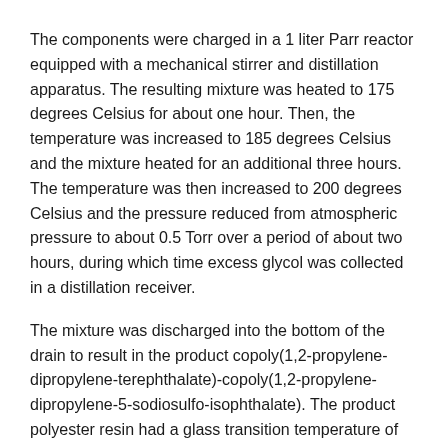The components were charged in a 1 liter Parr reactor equipped with a mechanical stirrer and distillation apparatus. The resulting mixture was heated to 175 degrees Celsius for about one hour. Then, the temperature was increased to 185 degrees Celsius and the mixture heated for an additional three hours. The temperature was then increased to 200 degrees Celsius and the pressure reduced from atmospheric pressure to about 0.5 Torr over a period of about two hours, during which time excess glycol was collected in a distillation receiver.
The mixture was discharged into the bottom of the drain to result in the product copoly(1,2-propylene-dipropylene-terephthalate)-copoly(1,2-propylene-dipropylene-5-sodiosulfo-isophthalate). The product polyester resin had a glass transition temperature of about 54.6° C., a number average molecular weight (Mn) of 3,500 grams per mole, and a weight average molecular weight (Mw) of 9,160 as measured by gel permeation chromatography using polystyrene as a standard. 10 Grams of the product polyester resin was then heated with 50 grams of water at 75 degrees Celsius for 1 hour to provide an emulsion of